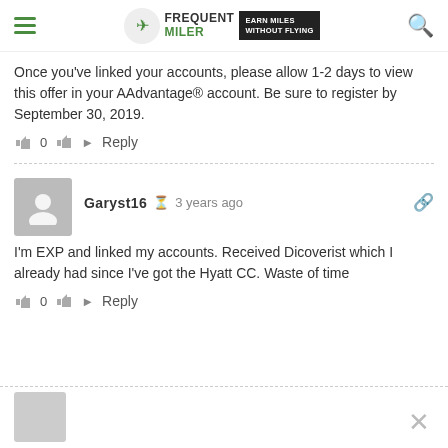Frequent Miler — Earn Miles Without Flying
Once you've linked your accounts, please allow 1-2 days to view this offer in your AAdvantage® account. Be sure to register by September 30, 2019.
👍 0 👎 → Reply
Garyst16 · 3 years ago
I'm EXP and linked my accounts. Received Dicoverist which I already had since I've got the Hyatt CC. Waste of time
👍 0 👎 → Reply